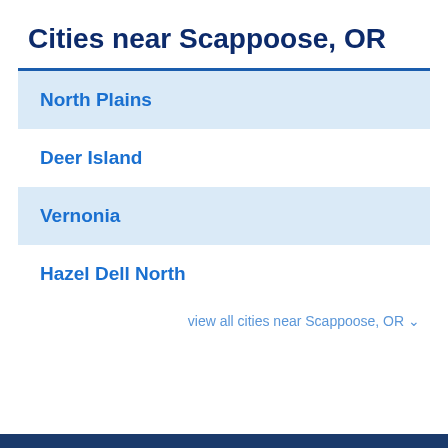Cities near Scappoose, OR
North Plains
Deer Island
Vernonia
Hazel Dell North
view all cities near Scappoose, OR ∨